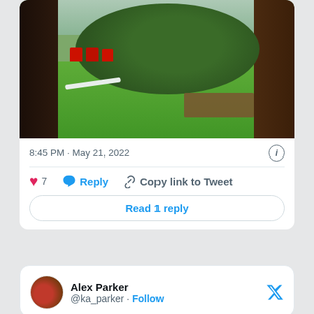[Figure (photo): Outdoor backyard photo showing green lawn with fallen tree branches, red Adirondack chairs, a deck, and dark wood fence/wall]
8:45 PM · May 21, 2022
♥ 7  Reply  Copy link to Tweet
Read 1 reply
Alex Parker @ka_parker · Follow